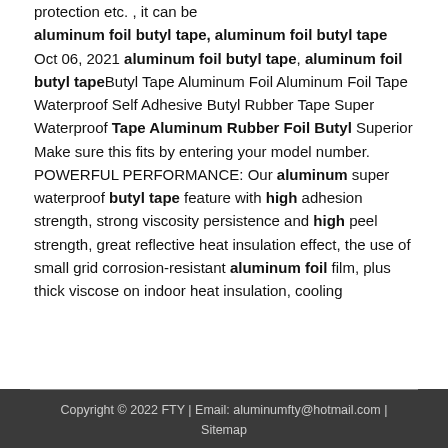resistance, Oxidation resistance, non-toxic, environmental protection etc. , it can be aluminum foil butyl tape, aluminum foil butyl tape Oct 06, 2021 aluminum foil butyl tape, aluminum foil butyl tapeButyl Tape Aluminum Foil Aluminum Foil Tape Waterproof Self Adhesive Butyl Rubber Tape Super Waterproof Tape Aluminum Rubber Foil Butyl Superior Make sure this fits by entering your model number. POWERFUL PERFORMANCE: Our aluminum super waterproof butyl tape feature with high adhesion strength, strong viscosity persistence and high peel strength, great reflective heat insulation effect, the use of small grid corrosion-resistant aluminum foil film, plus thick viscose on indoor heat insulation, cooling
Copyright © 2022 FTY | Email: aluminumfty@hotmail.com | Sitemap